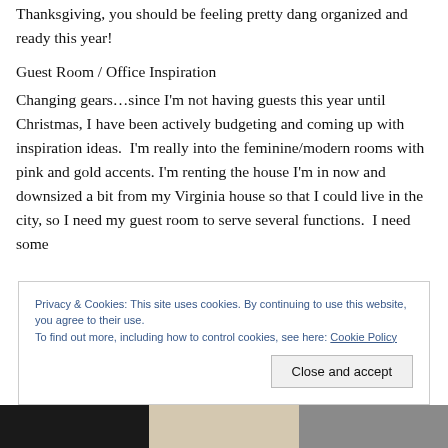Thanksgiving, you should be feeling pretty dang organized and ready this year!
Guest Room / Office Inspiration
Changing gears…since I'm not having guests this year until Christmas, I have been actively budgeting and coming up with inspiration ideas.  I'm really into the feminine/modern rooms with pink and gold accents. I'm renting the house I'm in now and downsized a bit from my Virginia house so that I could live in the city, so I need my guest room to serve several functions.  I need some
Privacy & Cookies: This site uses cookies. By continuing to use this website, you agree to their use.
To find out more, including how to control cookies, see here: Cookie Policy
[Figure (photo): Bottom strip showing a partial room photo, dark on left, beige/neutral center, grey on right]